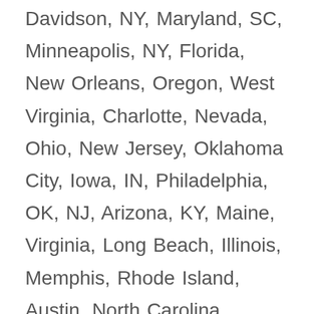Davidson, NY, Maryland, SC, Minneapolis, NY, Florida, New Orleans, Oregon, West Virginia, Charlotte, Nevada, Ohio, New Jersey, Oklahoma City, Iowa, IN, Philadelphia, OK, NJ, Arizona, KY, Maine, Virginia, Long Beach, Illinois, Memphis, Rhode Island, Austin, North Carolina, Tennessee, Massachusetts, HI, Idaho, San Francisco, California, Delaware, GA, Fort Worth, District of Columbia, Massachusetts, AZ, MS, Minnesota, NH, IA, Dallas, Connecticut, FL, ID, Illinois, Milwaukee, WV, VT, Detroit, CT, Las Vegas, New Hampshire, MT, Mississippi, Mesa, Washington, El Paso, Los Angeles, Columbus, Oklahoma, Fresno, Pennsylvania, NE, NM, Denver, Indianapolis, VA, Minnesota, Brookhaven, Washington,